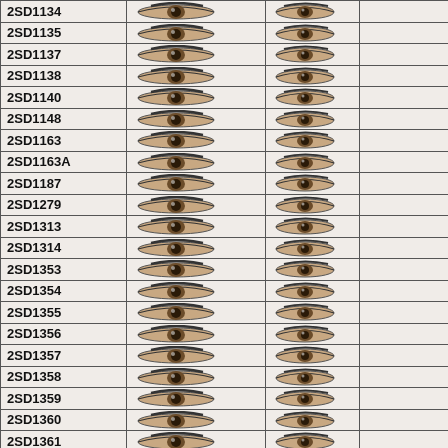| Part Number | Symbol Col1 | Symbol Col2 |  |
| --- | --- | --- | --- |
| 2SD1134 | [eye symbol] | [eye symbol] |  |
| 2SD1135 | [eye symbol] | [eye symbol] |  |
| 2SD1137 | [eye symbol] | [eye symbol] |  |
| 2SD1138 | [eye symbol] | [eye symbol] |  |
| 2SD1140 | [eye symbol] | [eye symbol] |  |
| 2SD1148 | [eye symbol] | [eye symbol] |  |
| 2SD1163 | [eye symbol] | [eye symbol] |  |
| 2SD1163A | [eye symbol] | [eye symbol] |  |
| 2SD1187 | [eye symbol] | [eye symbol] |  |
| 2SD1279 | [eye symbol] | [eye symbol] |  |
| 2SD1313 | [eye symbol] | [eye symbol] |  |
| 2SD1314 | [eye symbol] | [eye symbol] |  |
| 2SD1353 | [eye symbol] | [eye symbol] |  |
| 2SD1354 | [eye symbol] | [eye symbol] |  |
| 2SD1355 | [eye symbol] | [eye symbol] |  |
| 2SD1356 | [eye symbol] | [eye symbol] |  |
| 2SD1357 | [eye symbol] | [eye symbol] |  |
| 2SD1358 | [eye symbol] | [eye symbol] |  |
| 2SD1359 | [eye symbol] | [eye symbol] |  |
| 2SD1360 | [eye symbol] | [eye symbol] |  |
| 2SD1361 | [eye symbol] | [eye symbol] |  |